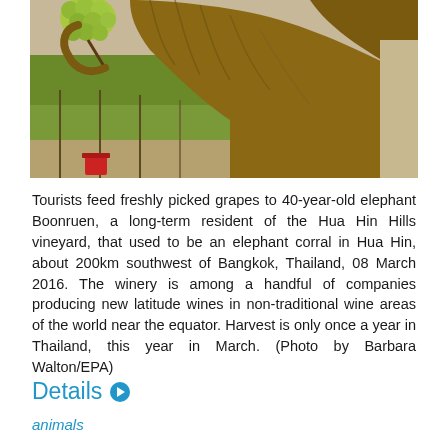[Figure (photo): Close-up photo of an elephant trunk reaching up toward green grapes on a vine, with vineyard rows visible in the background]
Tourists feed freshly picked grapes to 40-year-old elephant Boonruen, a long-term resident of the Hua Hin Hills vineyard, that used to be an elephant corral in Hua Hin, about 200km southwest of Bangkok, Thailand, 08 March 2016. The winery is among a handful of companies producing new latitude wines in non-traditional wine areas of the world near the equator. Harvest is only once a year in Thailand, this year in March. (Photo by Barbara Walton/EPA)
Details
animals